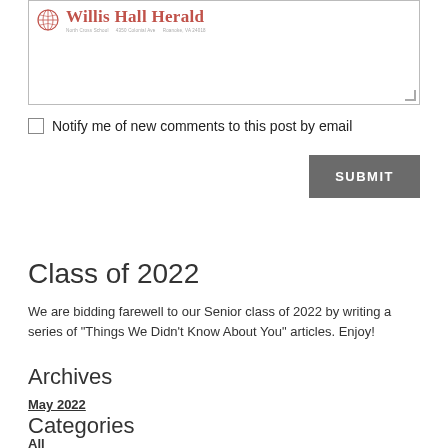[Figure (logo): Willis Hall Herald newspaper logo with globe icon in red/pink color, with subtitle text]
Notify me of new comments to this post by email
SUBMIT
Class of 2022
We are bidding farewell to our Senior class of 2022 by writing a series of "Things We Didn't Know About You" articles. Enjoy!
Archives
May 2022
Categories
All